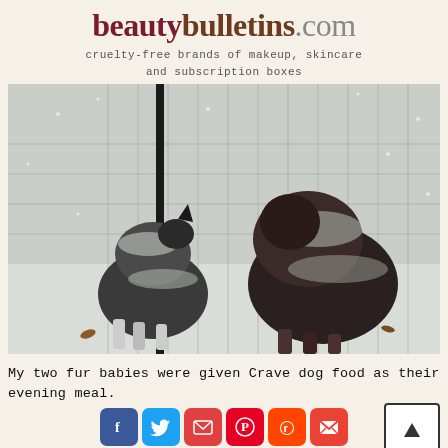beautybulletins.com
cruelty-free brands of makeup, skincare and subscription boxes
[Figure (photo): Two dogs covered in snow standing near a wire fence outdoors in winter]
My two fur babies were given Crave dog food as their evening meal.
[Figure (infographic): Social share buttons: Facebook, Twitter, Email, Pinterest, Reddit, Gmail, and scroll-up button; second row: Yahoo, WhatsApp, Telegram, Share]
I was delighted that Crave was grain free with no corn or soy. This is what we choose every time when